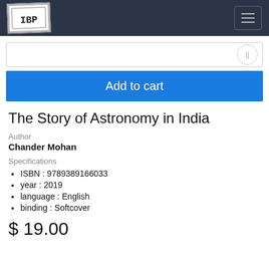IBP logo header with navigation
[Figure (logo): IBP bookstore logo — hand-drawn style box with IBP text]
Add to cart
The Story of Astronomy in India
Author
Chander Mohan
Specifications
ISBN : 9789389166033
year : 2019
language : English
binding : Softcover
$ 19.00